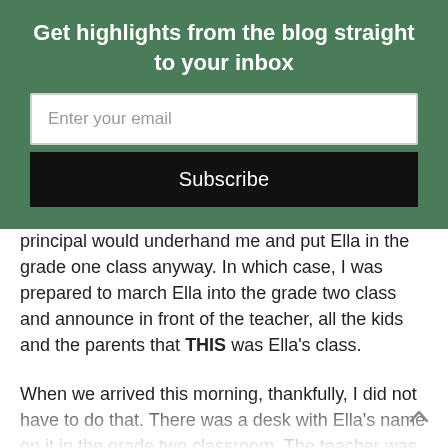Get highlights from the blog straight to your inbox
[Figure (screenshot): Email subscription modal overlay with green header, email input field, Subscribe button, and close (X) button]
time, was a nervous wreck. I wondered if the principal would underhand me and put Ella in the grade one class anyway. In which case, I was prepared to march Ella into the grade two class and announce in front of the teacher, all the kids and the parents that THIS was Ella's class.
When we arrived this morning, thankfully, I did not have to do that. There was a desk with Ella's name on it in the grade two classroom. The teacher was sure to mention that she only heard about the change at 6pm the night before, but I let roll off my back.